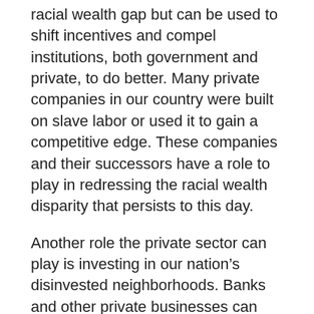racial wealth gap but can be used to shift incentives and compel institutions, both government and private, to do better. Many private companies in our country were built on slave labor or used it to gain a competitive edge. These companies and their successors have a role to play in redressing the racial wealth disparity that persists to this day.
Another role the private sector can play is investing in our nation's disinvested neighborhoods. Banks and other private businesses can provide the capital to start businesses, support entrepreneurship and build economically vibrant neighborhoods. The federal Community Reinvestment Act is an important vehicle for encouraging more neighborhood investment in low and moderate neighborhoods.
These kinds of reparations are not a zero sum